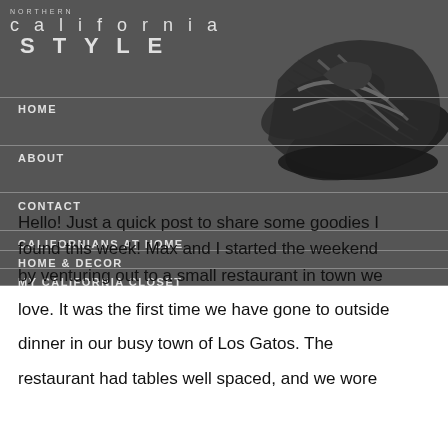NORTHERN california STYLE
[Figure (photo): Dark patterned flip-flop sandal on dark background]
HOME
ABOUT
CONTACT
CALIFORNIANS AT HOME
HOME & DECOR
MY CALIFORNIA CLOSET
Hello! Just a quick post to share some goodies I found this week! Max and I started the weekend by venturing out to a small restaurant in town we love. It was the first time we have gone to outside dinner in our busy town of Los Gatos. The restaurant had tables well spaced, and we wore